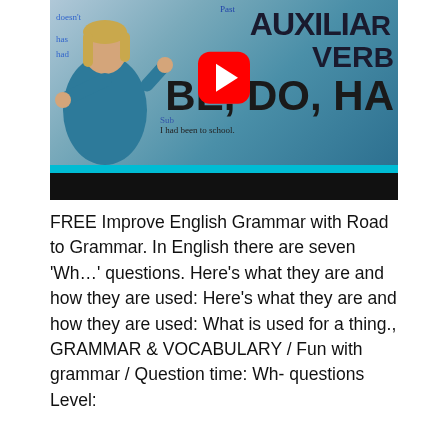[Figure (screenshot): YouTube video thumbnail showing a female teacher in a teal/blue outfit standing in front of a whiteboard with text 'AUXILIARY VERBS BE, DO, HAVE' and handwritten grammar notes. A red YouTube play button is overlaid in the center. Below the thumbnail is a cyan bar and a black progress bar.]
FREE Improve English Grammar with Road to Grammar. In English there are seven 'Wh...' questions. Here's what they are and how they are used: Here's what they are and how they are used: What is used for a thing., GRAMMAR & VOCABULARY / Fun with grammar / Question time: Wh- questions Level: